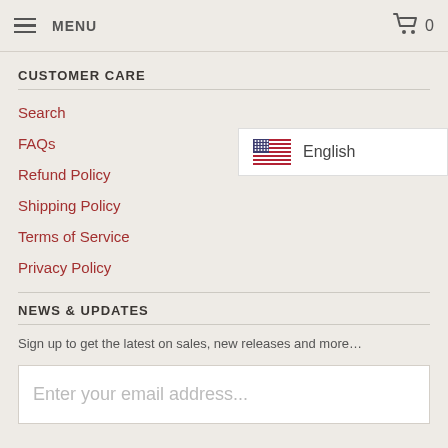MENU  🛒 0
CUSTOMER CARE
Search
FAQs
Refund Policy
[Figure (other): US flag with English language selector dropdown]
Shipping Policy
Terms of Service
Privacy Policy
NEWS & UPDATES
Sign up to get the latest on sales, new releases and more...
Enter your email address...